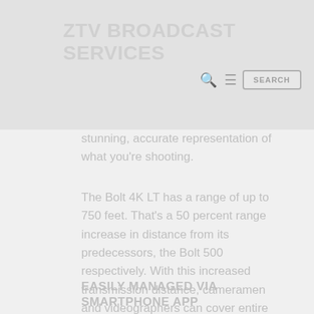ZTV BROADCAST SERVICES
stunning, accurate representation of what you're shooting.
The Bolt 4K LT has a range of up to 750 feet. That's a 50 percent range increase in distance from its predecessors, the Bolt 500 respectively. With this increased transmission distance, cameramen and videographers can cover entire production sets without dragging around connecting cables. Not only does this increase mobility and make a spotter's job easier, but a wireless set is safer and less likely to tip expensive equipment.
EASILY MANAGED VIA SMARTPHONE APP